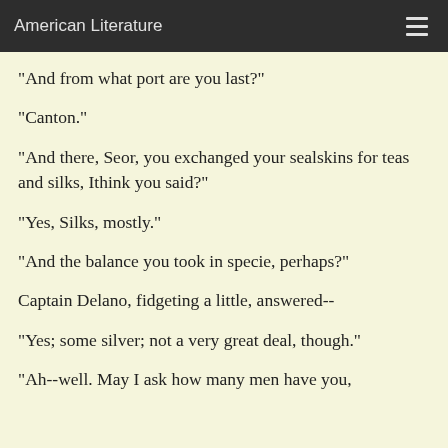American Literature
"And from what port are you last?"
"Canton."
"And there, Seor, you exchanged your sealskins for teas and silks, Ithink you said?"
"Yes, Silks, mostly."
"And the balance you took in specie, perhaps?"
Captain Delano, fidgeting a little, answered--
"Yes; some silver; not a very great deal, though."
"Ah--well. May I ask how many men have you,